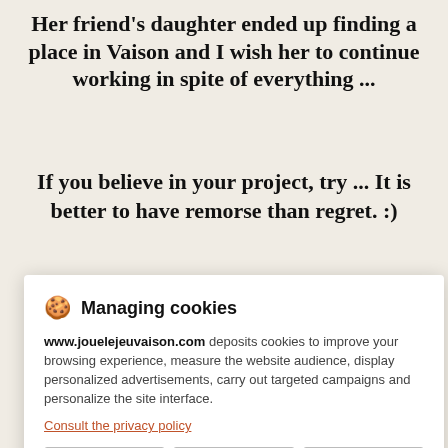Her friend's daughter ended up finding a place in Vaison and I wish her to continue working in spite of everything ...
If you believe in your project, try ... It is better to have remorse than regret. :)
[Figure (screenshot): Cookie consent modal dialog with title 'Managing cookies', body text about www.jouelejeuvaison.com depositing cookies, a link 'Consult the privacy policy', and three buttons: Refuse, Settings, Accept]
Good day and good game ;)